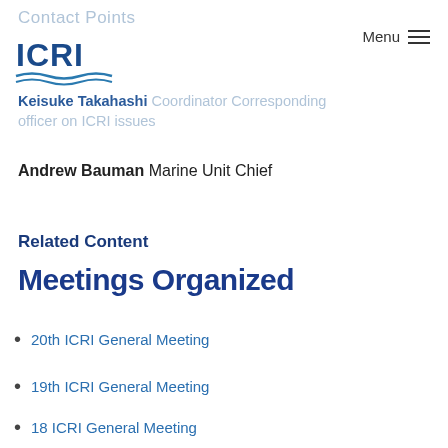Contact Points
[Figure (logo): ICRI logo with text ICRI and wave graphic underneath]
Keisuke Takahashi Coordinator Corresponding officer on ICRI issues
Andrew Bauman Marine Unit Chief
Related Content
Meetings Organized
20th ICRI General Meeting
19th ICRI General Meeting
18 ICRI General Meeting